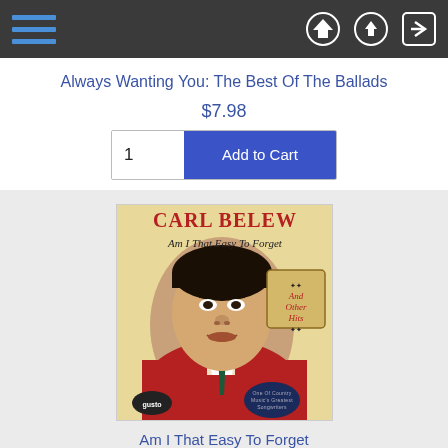Navigation bar with menu, home, upload, and login icons
Always Wanting You: The Best Of The Ballads
$7.98
1  Add to Cart
[Figure (photo): Album cover for Carl Belew 'Am I That Easy To Forget And Other Hits' — shows portrait of Carl Belew in a red jacket, with the title text in red and black on a cream/yellow background. Includes a label badge reading 'One Of Country Music's Greatest Songwriters'.]
Am I That Easy To Forget